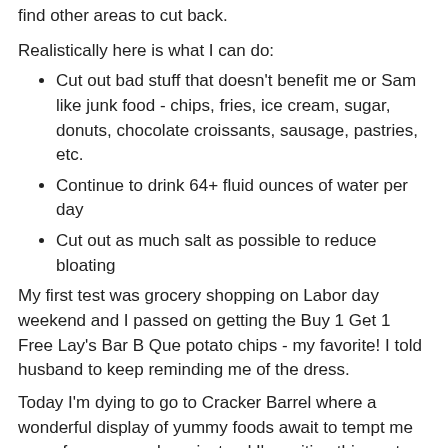find other areas to cut back.
Realistically here is what I can do:
Cut out bad stuff that doesn't benefit me or Sam like junk food - chips, fries, ice cream, sugar, donuts, chocolate croissants, sausage, pastries, etc.
Continue to drink 64+ fluid ounces of water per day
Cut out as much salt as possible to reduce bloating
My first test was grocery shopping on Labor day weekend and I passed on getting the Buy 1 Get 1 Free Lay's Bar B Que potato chips - my favorite! I told husband to keep reminding me of the dress.
Today I'm dying to go to Cracker Barrel where a wonderful display of yummy foods await to tempt me away from my goals so instead I'm writing this post first, then starting Jillian Michael's Shread work-out, then eating eggs for energy and going to the barrel with a lap of fresh veggies...